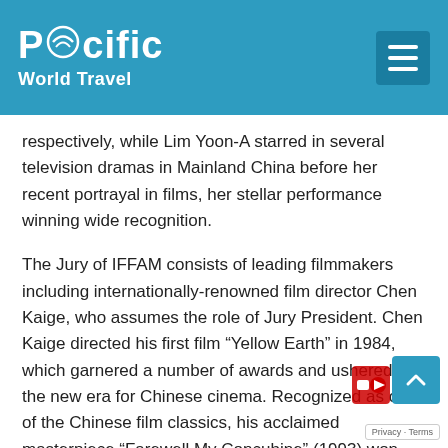Pacific World Travel
respectively, while Lim Yoon-A starred in several television dramas in Mainland China before her recent portrayal in films, her stellar performance winning wide recognition.
The Jury of IFFAM consists of leading filmmakers including internationally-renowned film director Chen Kaige, who assumes the role of Jury President. Chen Kaige directed his first film “Yellow Earth” in 1984, which garnered a number of awards and ushered in the new era for Chinese cinema. Recognized as one of the Chinese film classics, his acclaimed masterpiece “Farewell My Concubine” (1993) won the Palme d’Or at the 46th Cannes Film Festival in the same year, making Chen the only Chinese director who has received this top accolade to this day. Other Jury